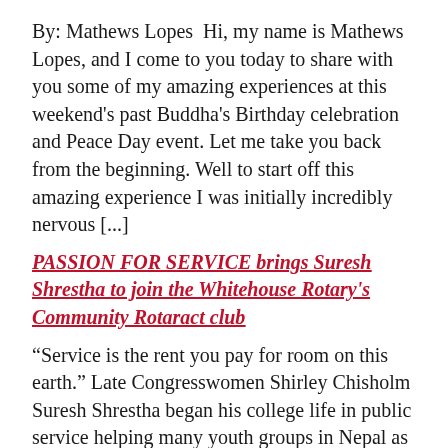By: Mathews Lopes  Hi, my name is Mathews Lopes, and I come to you today to share with you some of my amazing experiences at this weekend's past Buddha's Birthday celebration and Peace Day event. Let me take you back from the beginning. Well to start off this amazing experience I was initially incredibly nervous [...]
PASSION FOR SERVICE brings Suresh Shrestha to join the Whitehouse Rotary's Community Rotaract club
“Service is the rent you pay for room on this earth.” Late Congresswomen Shirley Chisholm Suresh Shrestha began his college life in public service helping many youth groups in Nepal as a member of the Sindhu Public Awakening Youth club. His passion for volunteerism